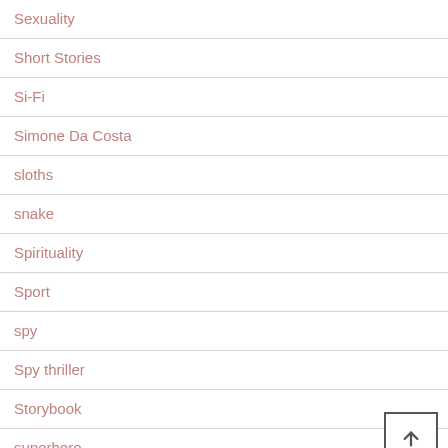Sexuality
Short Stories
Si-Fi
Simone Da Costa
sloths
snake
Spirituality
Sport
spy
Spy thriller
Storybook
superhero
supernatural
surgeon